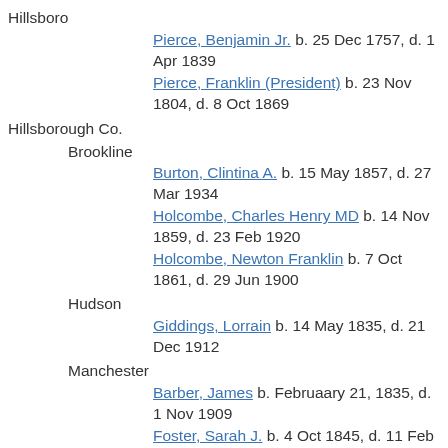Hillsboro
Pierce, Benjamin Jr.  b. 25 Dec 1757, d. 1 Apr 1839
Pierce, Franklin (President)  b. 23 Nov 1804, d. 8 Oct 1869
Hillsborough Co.
Brookline
Burton, Clintina A.  b. 15 May 1857, d. 27 Mar 1934
Holcombe, Charles Henry MD  b. 14 Nov 1859, d. 23 Feb 1920
Holcombe, Newton Franklin  b. 7 Oct 1861, d. 29 Jun 1900
Hudson
Giddings, Lorrain  b. 14 May 1835, d. 21 Dec 1912
Manchester
Barber, James  b. Februaary 21, 1835, d. 1 Nov 1909
Foster, Sarah J.  b. 4 Oct 1845, d. 11 Feb 1899
French, Cyrus  b. 20 Jul 1802, d. 25 Jan 1883
French, Mabel Almira  b. 3 Oct 1869, d. 21 Nov 1909